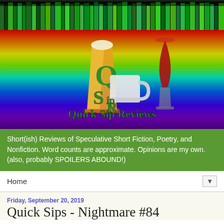[Figure (photo): Website header with colorful book spines on dark background]
[Figure (logo): Quick Sip Reviews logo with beer glass, wine glass, and coffee mug on rainbow gradient background]
Short(ish) Reviews of Speculative Short Fiction, Poetry, and Nonfiction. Word counts are approximate. Opinions are my own. (also, probably SPOILERS ABOUND!)
Home ▼
Friday, September 20, 2019
Quick Sips - Nightmare #84
[Figure (photo): Nightmare Magazine Horror & Dark Fantasy cover image]